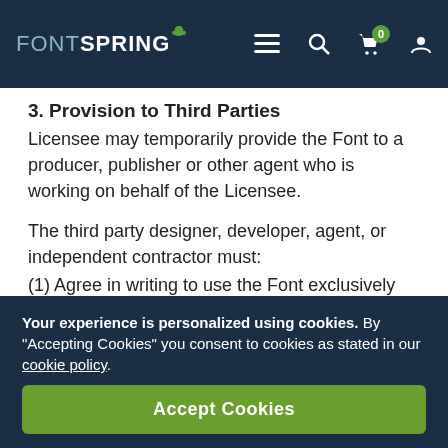FONTSPRING
3. Provision to Third Parties
Licensee may temporarily provide the Font to a producer, publisher or other agent who is working on behalf of the Licensee.
The third party designer, developer, agent, or independent contractor must:
(1) Agree in writing to use the Font exclusively for Licensee's work, according to the terms of this EULA.
(2) Retain no copies of the Font upon completion of the work.
Your experience is personalized using cookies. By "Accepting Cookies" you consent to cookies as stated in our cookie policy.
Accept Cookies